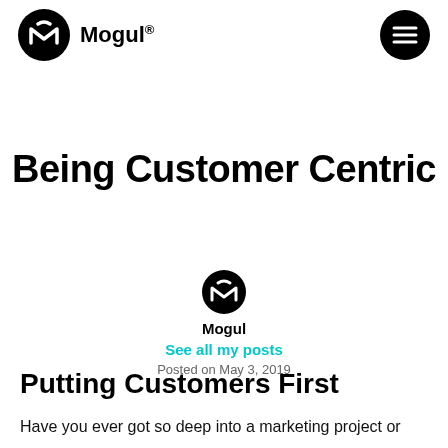Mogul®
Being Customer Centric
[Figure (logo): Mogul logo icon (circular black badge with M crown symbol)]
Mogul
See all my posts
Posted on May 3, 2019
Putting Customers First
Have you ever got so deep into a marketing project or